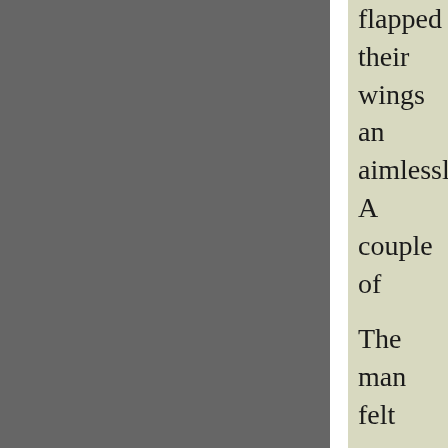flapped their wings and aimlessly. A couple of
The man felt sorry for would be a great place surely they could spend over to the barn and op hoping they would not fluttered around aimles what it could mean for that just seemed to sca into the house and cam breadcrumb trail leadir was getting frustrated. toward the barn. Nothi where they would be w
"Why don't they follow only place where they and realized that they j goose, then I could sav He went into the barn, arms as he circled arou released it. His goose f and one by one the oth